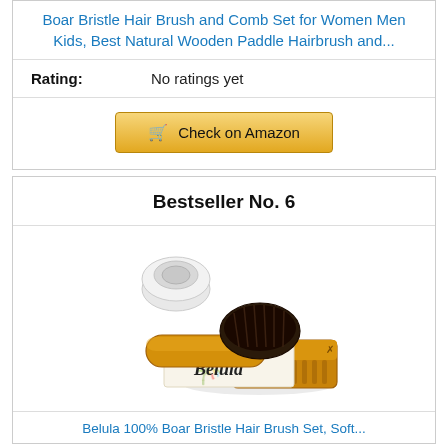Boar Bristle Hair Brush and Comb Set for Women Men Kids, Best Natural Wooden Paddle Hairbrush and...
Rating:  No ratings yet
Check on Amazon
Bestseller No. 6
[Figure (photo): Belula branded boar bristle hair brush and wooden comb set product image]
Belula 100% Boar Bristle Hair Brush Set, Soft...